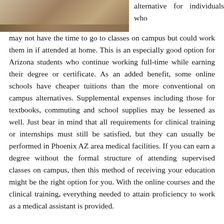[Figure (photo): Partial photo of a person working at a laptop on a desk with a coffee cup and papers visible]
alternative for individuals who may not have the time to go to classes on campus but could work them in if attended at home. This is an especially good option for Arizona students who continue working full-time while earning their degree or certificate. As an added benefit, some online schools have cheaper tuitions than the more conventional on campus alternatives. Supplemental expenses including those for textbooks, commuting and school supplies may be lessened as well. Just bear in mind that all requirements for clinical training or internships must still be satisfied, but they can usually be performed in Phoenix AZ area medical facilities. If you can earn a degree without the formal structure of attending supervised classes on campus, then this method of receiving your education might be the right option for you. With the online courses and the clinical training, everything needed to attain proficiency to work as a medical assistant is provided.